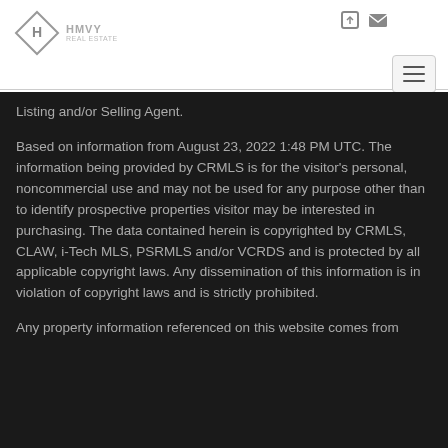[Figure (logo): Diamond-shaped logo with stylized H/K initials, with company name text to the right]
Listing and/or Selling Agent.
Based on information from August 23, 2022 1:48 PM UTC. The information being provided by CRMLS is for the visitor's personal, noncommercial use and may not be used for any purpose other than to identify prospective properties visitor may be interested in purchasing. The data contained herein is copyrighted by CRMLS, CLAW, i-Tech MLS, PSRMLS and/or VCRDS and is protected by all applicable copyright laws. Any dissemination of this information is in violation of copyright laws and is strictly prohibited.
Any property information referenced on this website comes from